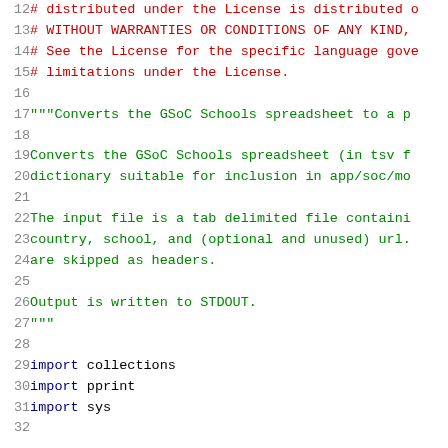12  # distributed under the License is distributed
13  # WITHOUT WARRANTIES OR CONDITIONS OF ANY KIND,
14  # See the License for the specific language gove
15  # limitations under the License.
16
17  """Converts the GSoC Schools spreadsheet to a p
18
19  Converts the GSoC Schools spreadsheet (in tsv f
20  dictionary suitable for inclusion in app/soc/mo
21
22  The input file is a tab delimited file containi
23  country, school, and (optional and unused) url.
24  are skipped as headers.
25
26  Output is written to STDOUT.
27  """
28
29  import collections
30  import pprint
31  import sys
32